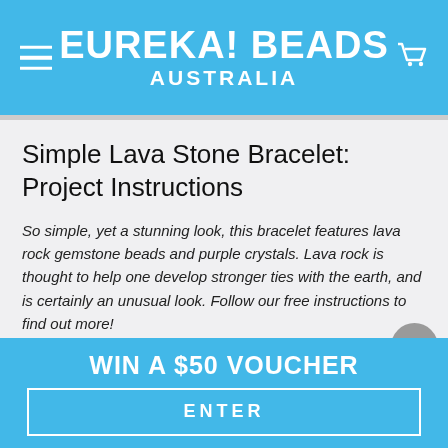EUREKA! BEADS AUSTRALIA
Simple Lava Stone Bracelet: Project Instructions
So simple, yet a stunning look, this bracelet features lava rock gemstone beads and purple crystals. Lava rock is thought to help one develop stronger ties with the earth, and is certainly an unusual look. Follow our free instructions to find out more!
MATERIALS REQUIRED
WIN A $50 VOUCHER
ENTER